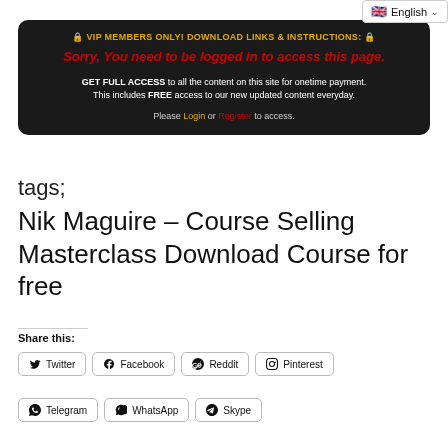English
🔒 VIP MEMBERS ONLY! DOWNLOAD LINKS & INSTRUCTIONS: 🔒
Sorry, You need to be logged in to access this page.
GET FULL ACCESS to all the content on this site for onetime payment. This includes FREE access to our new updated content everyday.
Please Login or Register to access.
tags;
Nik Maguire – Course Selling Masterclass Download Course for free
Share this:
Twitter
Facebook
Reddit
Pinterest
Telegram
WhatsApp
Skype